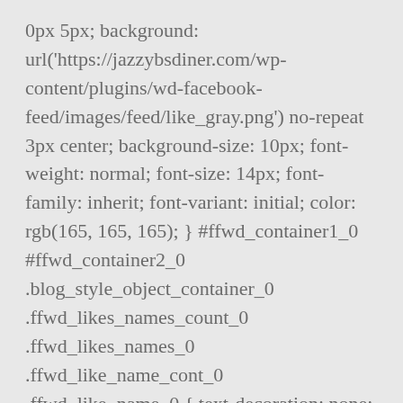0px 5px; background: url('https://jazzybsdiner.com/wp-content/plugins/wd-facebook-feed/images/feed/like_gray.png') no-repeat 3px center; background-size: 10px; font-weight: normal; font-size: 14px; font-family: inherit; font-variant: initial; color: rgb(165, 165, 165); } #ffwd_container1_0 #ffwd_container2_0 .blog_style_object_container_0 .ffwd_likes_names_count_0 .ffwd_likes_names_0 .ffwd_like_name_cont_0 .ffwd_like_name_0 { text-decoration: none; outline: none; border-style: none; color: #000000; font-family: